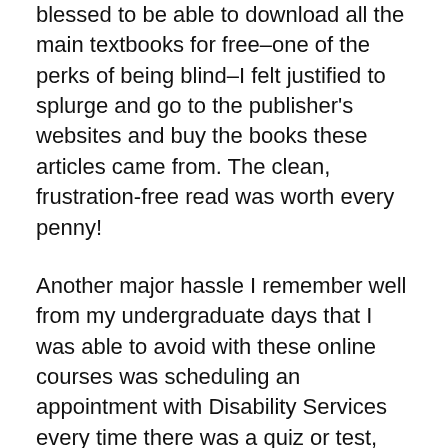blessed to be able to download all the main textbooks for free–one of the perks of being blind–I felt justified to splurge and go to the publisher's websites and buy the books these articles came from. The clean, frustration-free read was worth every penny!
Another major hassle I remember well from my undergraduate days that I was able to avoid with these online courses was scheduling an appointment with Disability Services every time there was a quiz or test, and reminding the professor to send the quiz or test to Disability Services. This was necessary because as a blind person, I needed to take my test on a computer, and I was allowed extra time for tests since it takes longer to navigate and read things on a